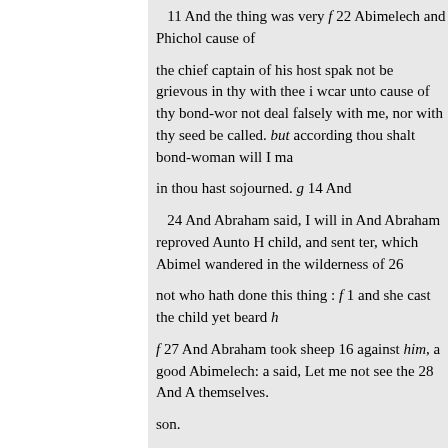11 And the thing was very f 22 Abimelech and Phichol cause of
the chief captain of his host spak not be grievous in thy with thee i wcar unto cause of thy bond-wor not deal falsely with me, nor with thy seed be called. but according thou shalt bond-woman will I ma
in thou hast sojourned. g 14 And
24 And Abraham said, I will in And Abraham reproved Aunto H child, and sent ter, which Abimel wandered in the wilderness of 26
not who hath done this thing : f 1 and she cast the child yet beard h
f 27 And Abraham took sheep 16 against him, a good Abimelech: a said, Let me not see the 28 And A themselves.
son.